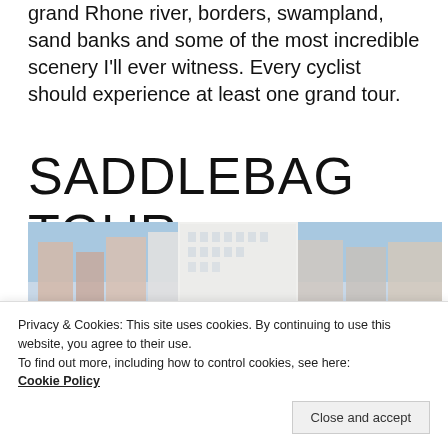grand Rhone river, borders, swampland, sand banks and some of the most incredible scenery I'll ever witness. Every cyclist should experience at least one grand tour.
SADDLEBAG TOUR
[Figure (photo): Photo of urban buildings with colorful murals and construction fencing, with a bicycle visible at the bottom.]
Privacy & Cookies: This site uses cookies. By continuing to use this website, you agree to their use.
To find out more, including how to control cookies, see here: Cookie Policy
Close and accept